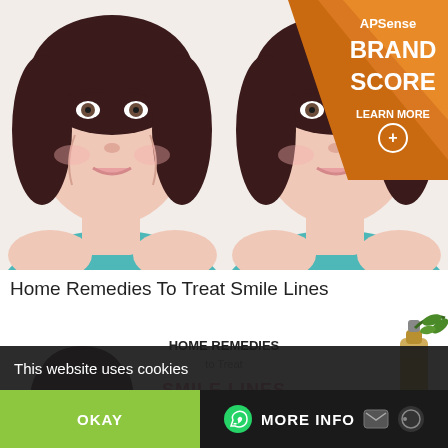[Figure (illustration): Two illustrated women facing forward side by side, both wearing teal/turquoise tops, with visible smile/nasolabial lines on the left woman and smoother skin on the right woman, showing before/after comparison for smile lines treatment]
[Figure (logo): APSense Brand Score badge - orange/brown triangular ribbon badge in upper right corner with text 'APSense BRAND SCORE LEARN MORE' and a plus/magnifier icon]
Home Remedies To Treat Smile Lines
[Figure (infographic): Home remedies infographic showing: a woman touching her face, text 'HOME REMEDIES to Treat SMILE LINES' in pink/dark, a bowl with olive oil labeled 'OLIVE OIL', two illustrated women faces, a bottle of argan oil with nuts labeled 'ARGAN OIL']
This website uses cookies
OKAY
MORE INFO